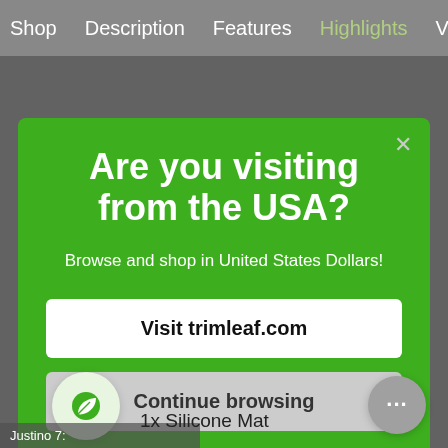Shop   Description   Features   Highlights   V
Are you visiting from the USA?
Browse and shop in United States Dollars!
Visit trimleaf.com
Continue browsing
1x Silicone Mat